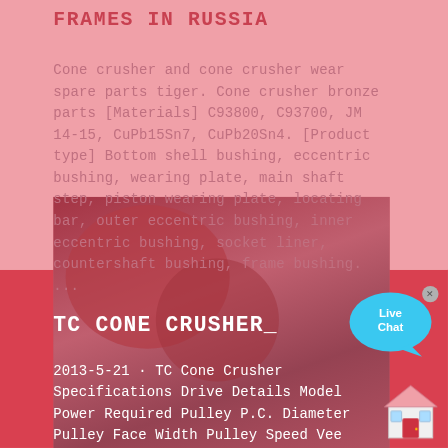FRAMES IN RUSSIA
Cone crusher and cone crusher wear spare parts tiger. Cone crusher bronze parts [Materials] C93800, C93700, JM 14-15, CuPb15Sn7, CuPb20Sn4. [Product type] Bottom shell bushing, eccentric bushing, wearing plate, main shaft step, piston wearing plate, locating bar, outer eccentric bushing, inner eccentric bushing, socket liner, countershaft bushing, frame bushing. ...
TC CONE CRUSHER_
2013-5-21 · TC Cone Crusher Specifications Drive Details Model Power Required Pulley P.C. Diameter Pulley Face Width Pulley Speed Vee Belts kW HP mm inches mm inches RPM TC1000